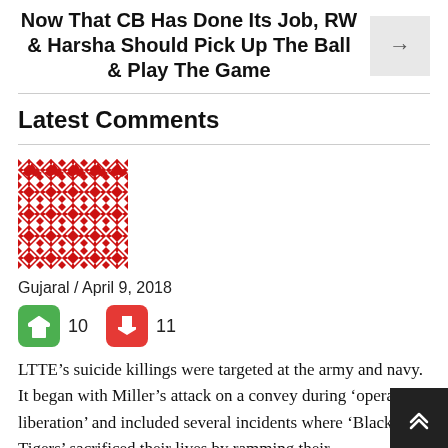Now That CB Has Done Its Job, RW & Harsha Should Pick Up The Ball & Play The Game
Latest Comments
[Figure (illustration): Red decorative geometric/floral pattern avatar icon for user Gujaral]
Gujaral / April 9, 2018
10  11 (thumbs up and thumbs down vote counts)
LTTE’s suicide killings were targeted at the army and navy. It began with Miller’s attack on a convey during ‘operation liberation’ and included several incidents where ‘Black Tigers’ sacrificed their lives by ramming their